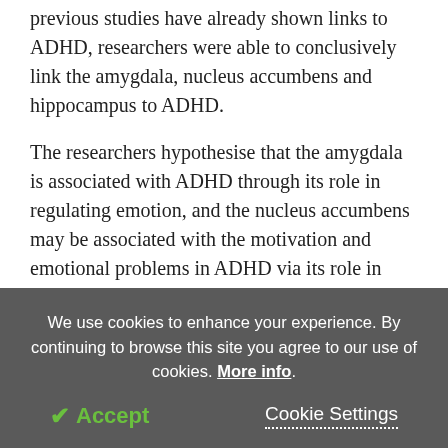previous studies have already shown links to ADHD, researchers were able to conclusively link the amygdala, nucleus accumbens and hippocampus to ADHD.
The researchers hypothesise that the amygdala is associated with ADHD through its role in regulating emotion, and the nucleus accumbens may be associated with the motivation and emotional problems in ADHD via its role in reward processing. The hippocampus' role in the disorder might act through its involvement in motivation and emotion.
We use cookies to enhance your experience. By continuing to browse this site you agree to our use of cookies. More info.